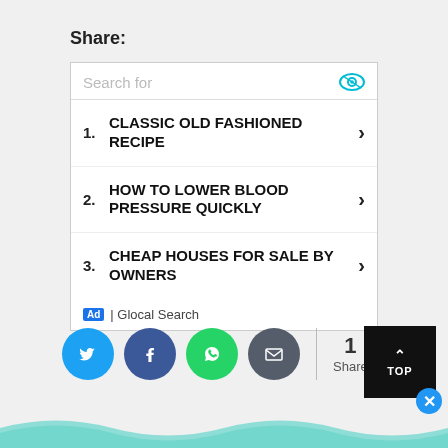Share:
[Figure (screenshot): Search ad box with three sponsored search result items: 1. CLASSIC OLD FASHIONED RECIPE, 2. HOW TO LOWER BLOOD PRESSURE QUICKLY, 3. CHEAP HOUSES FOR SALE BY OWNERS. Footer shows Ad badge and Glocal Search.]
[Figure (infographic): Social share buttons: Twitter (blue), Facebook (dark blue), WhatsApp (green), Email (dark gray), then a divider and share count showing 1 Share.]
[Figure (other): TOP button (dark square with up arrow) and a blue close X circle, with a wavy teal decorative footer.]